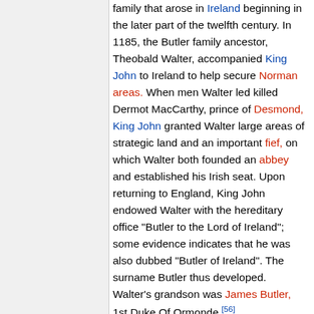family that arose in Ireland beginning in the later part of the twelfth century. In 1185, the Butler family ancestor, Theobald Walter, accompanied King John to Ireland to help secure Norman areas. When men Walter led killed Dermot MacCarthy, prince of Desmond, King John granted Walter large areas of strategic land and an important fief, on which Walter both founded an abbey and established his Irish seat. Upon returning to England, King John endowed Walter with the hereditary office "Butler to the Lord of Ireland"; some evidence indicates that he was also dubbed "Butler of Ireland". The surname Butler thus developed. Walter's grandson was James Butler, 1st Duke Of Ormonde.[56]
The American mystery writer John Dickson Carr, who lived in England for